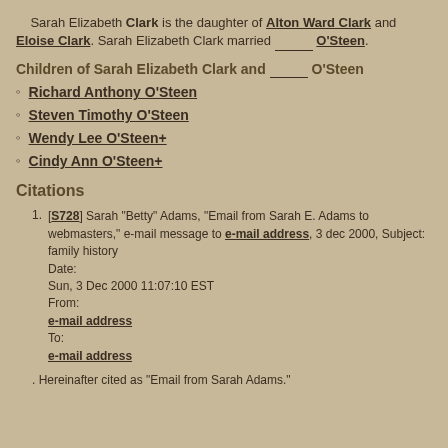Sarah Elizabeth Clark is the daughter of Alton Ward Clark and Eloise Clark. Sarah Elizabeth Clark married ______ O'Steen.
Children of Sarah Elizabeth Clark and ______ O'Steen
Richard Anthony O'Steen
Steven Timothy O'Steen
Wendy Lee O'Steen+
Cindy Ann O'Steen+
Citations
[S728] Sarah "Betty" Adams, "Email from Sarah E. Adams to webmasters," e-mail message to e-mail address, 3 dec 2000, Subject: family history Date: Sun, 3 Dec 2000 11:07:10 EST From: e-mail address To: e-mail address . Hereinafter cited as "Email from Sarah Adams."